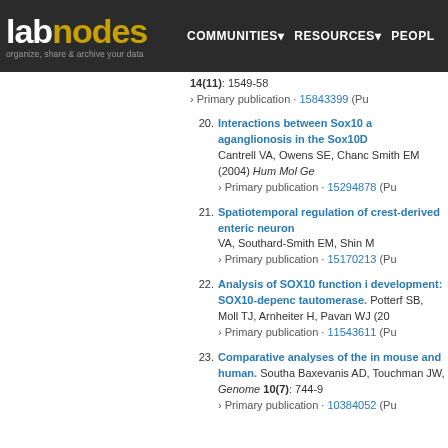labnodes — organize, share & archive your data | COMMUNITIES | RESOURCES | PEOPLE
14(11): 1549-58
› Primary publication · 15843399 (Pu
20. Interactions between Sox10 a aganglionosis in the Sox10D Cantrell VA, Owens SE, Chanc Smith EM (2004) Hum Mol Ge › Primary publication · 15294878 (Pu
21. Spatiotemporal regulation of crest-derived enteric neuron VA, Southard-Smith EM, Shin M › Primary publication · 15170213 (Pu
22. Analysis of SOX10 function i development: SOX10-depenc tautomerase. Potterf SB, Moll TJ, Arnheiter H, Pavan WJ (20 › Primary publication · 11543611 (Pu
23. Comparative analyses of the in mouse and human. Southa Baxevanis AD, Touchman JW, Genome 10(7): 744-9 › Primary publication · 10384052 (Pu